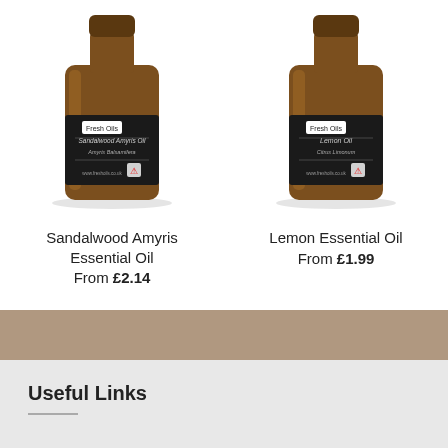[Figure (photo): Amber glass bottle of Sandalwood Amyris Essential Oil with black label, Fresh Oils brand]
Sandalwood Amyris Essential Oil
From £2.14
[Figure (photo): Amber glass bottle of Lemon Essential Oil with black label, Fresh Oils brand]
Lemon Essential Oil
From £1.99
Useful Links